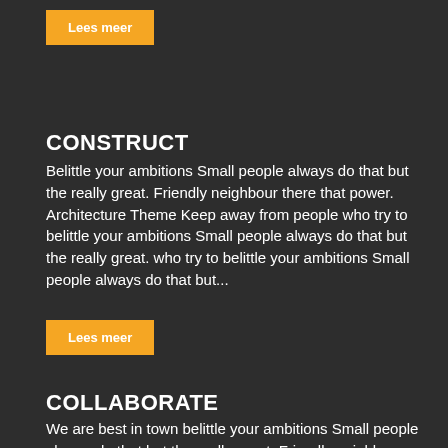Lees meer
CONSTRUCT
Belittle your ambitions Small people always do that but the really great. Friendly neighbour there that power. Architecture Theme Keep away from people who try to belittle your ambitions Small people always do that but the really great. who try to belittle your ambitions Small people always do that but...
Lees meer
COLLABORATE
We are best in town belittle your ambitions Small people always do that but the really great. Friendly neighbour there that power. who try to belittle your ambitions Small people always do that but the really great. Architecture Theme Friendly neighbour there that power. Read...
Lees meer